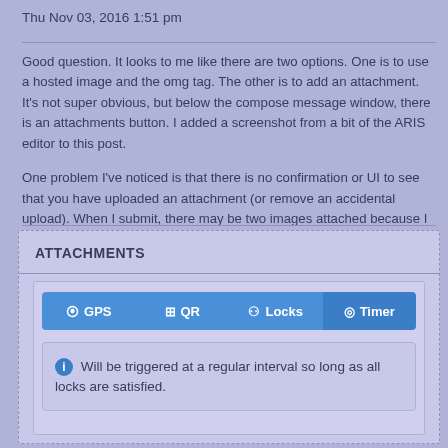Thu Nov 03, 2016 1:51 pm
Good question. It looks to me like there are two options. One is to use a hosted image and the omg tag. The other is to add an attachment. It's not super obvious, but below the compose message window, there is an attachments button. I added a screenshot from a bit of the ARIS editor to this post.
One problem I've noticed is that there is no confirmation or UI to see that you have uploaded an attachment (or remove an accidental upload). When I submit, there may be two images attached because I wasn't sure I did it right the first time.
ATTACHMENTS
[Figure (screenshot): Screenshot of an ARIS editor UI showing tabs: GPS, QR, Locks, Timer (Timer tab active), with an info box reading: Will be triggered at a regular interval so long as all locks are satisfied.]